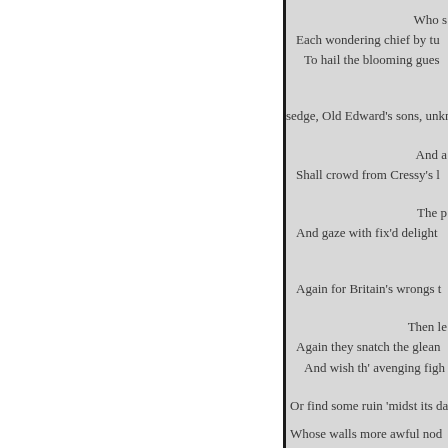Who s
Each wondering chief by tu
To hail the blooming gues

sedge, Old Edward's sons, unkno

And a
Shall crowd from Cressy's l

The p
And gaze with fix'd delight

Again for Britain's wrongs t

Then le
Again they snatch the glean
And wish th' avenging figh

Or find some ruin 'midst its da

Whose walls more awful nod

By

But, lo! where, sunk in de